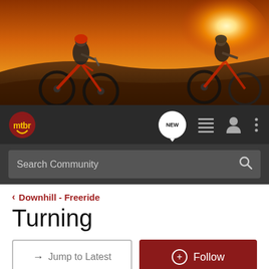[Figure (photo): Hero banner showing two mountain bikers riding downhill at sunset with dramatic orange sky]
mtbr — NEW, list, user, menu icons — Search Community
< Downhill - Freeride
Turning
→ Jump to Latest   + Follow
REVIEWS   DEALS   BIKESHOPS   TRAILS